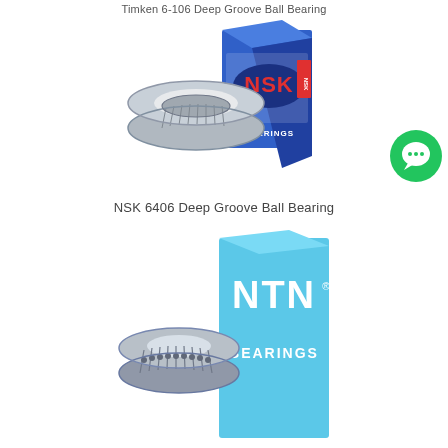Timken 6-106 Deep Groove Ball Bearing
[Figure (photo): NSK bearing tapered roller bearing component with blue NSK branded box packaging]
[Figure (illustration): Green circular chat/messenger icon button]
NSK 6406 Deep Groove Ball Bearing
[Figure (photo): NTN bearing tapered roller component with light blue NTN BEARINGS branded box packaging, partially visible]